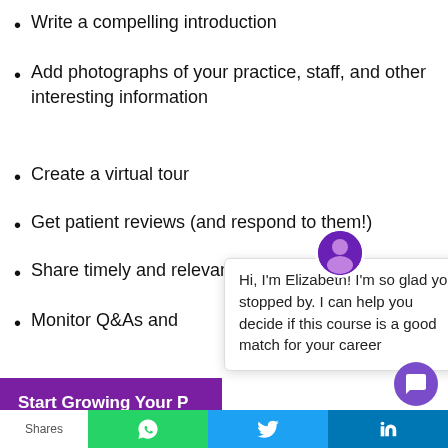Write a compelling introduction
Add photographs of your practice, staff, and other interesting information
Create a virtual tour
Get patient reviews (and respond to them!)
Share timely and relevant posts
Monitor Q&As and
[Figure (screenshot): Chat popup with avatar of Elizabeth saying: Hi, I'm Elizabeth! I'm so glad you stopped by. I can help you decide if this course is a good match for your career]
Start Growing Your P
[Figure (photo): Medical room with curtains]
Shares [WhatsApp] [Twitter] [LinkedIn]